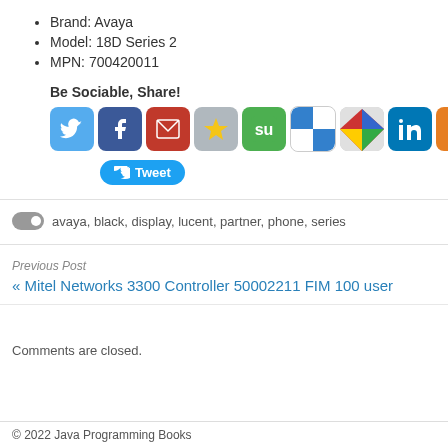Brand: Avaya
Model: 18D Series 2
MPN: 700420011
Be Sociable, Share!
[Figure (screenshot): Row of social sharing icon buttons: Twitter, Facebook, Email, Bookmark, StumbleUpon, Delicious, Google+, LinkedIn, MySpace, and +MORE button]
[Figure (screenshot): Tweet button with Twitter bird icon]
avaya, black, display, lucent, partner, phone, series
Previous Post
« Mitel Networks 3300 Controller 50002211 FIM 100 user
Comments are closed.
© 2022 Java Programming Books